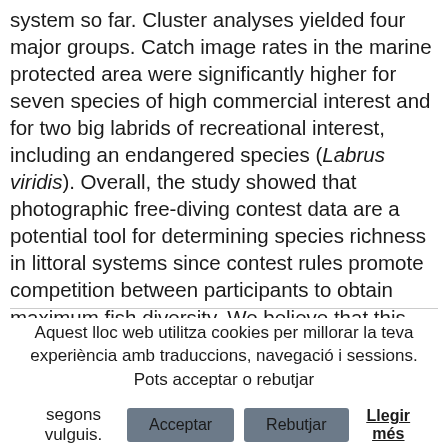system so far. Cluster analyses yielded four major groups. Catch image rates in the marine protected area were significantly higher for seven species of high commercial interest and for two big labrids of recreational interest, including an endangered species (Labrus viridis). Overall, the study showed that photographic free-diving contest data are a potential tool for determining species richness in littoral systems since contest rules promote competition between participants to obtain maximum fish diversity. We believe that this type of cost-effective data can be applied worldwide as a complementary way of monitoring littoral fish assemblage.
Aquest lloc web utilitza cookies per millorar la teva experiència amb traduccions, navegació i sessions. Pots acceptar o rebutjar segons vulguis. [Acceptar] [Rebutjar] Llegir més